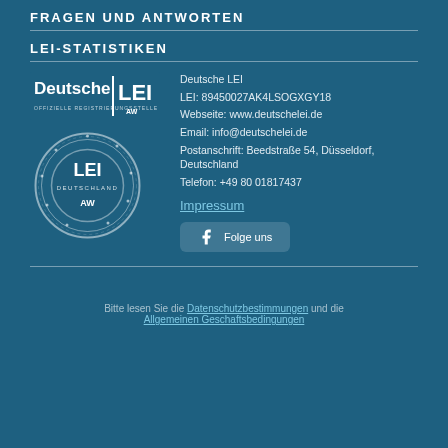FRAGEN UND ANTWORTEN
LEI-STATISTIKEN
[Figure (logo): Deutsche LEI official registration authority logo with AW mark]
Deutsche LEI
LEI: 89450027AK4LSOGXGY18
Webseite: www.deutschelei.de
Email: info@deutschelei.de
Postanschrift: Beedstraße 54, Düsseldorf, Deutschland
Telefon: +49 80 01817437
Impressum
Folge uns
Bitte lesen Sie die Datenschutzbestimmungen und die Allgemeinen Geschaftsbedingungen